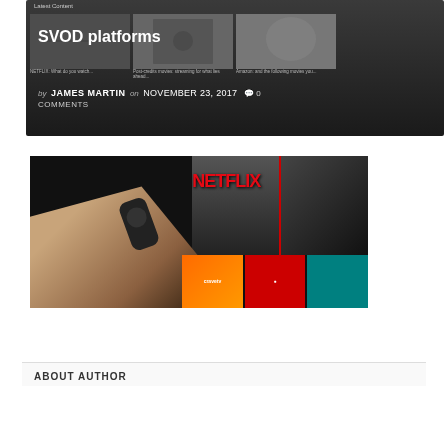[Figure (screenshot): Article card for SVOD platforms with dark/grey background showing thumbnails of content, with title 'SVOD platforms' overlaid, author 'JAMES MARTIN', date 'NOVEMBER 23, 2017', and '0 COMMENTS']
[Figure (photo): Photo of a hand holding a TV remote control in front of a screen showing Netflix and other streaming platform logos including orange and red branded tiles]
ABOUT AUTHOR